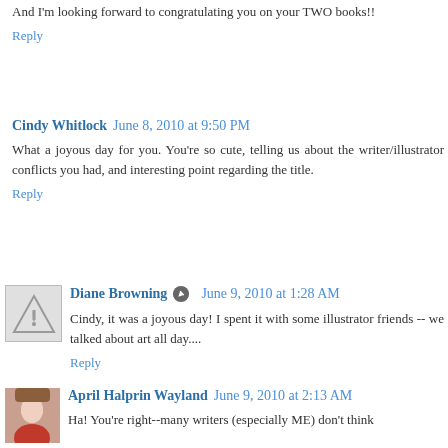And I'm looking forward to congratulating you on your TWO books!!
Reply
Cindy Whitlock   June 8, 2010 at 9:50 PM
What a joyous day for you. You're so cute, telling us about the writer/illustrator conflicts you had, and interesting point regarding the title.
Reply
Diane Browning   June 9, 2010 at 1:28 AM
Cindy, it was a joyous day! I spent it with some illustrator friends -- we talked about art all day....
Reply
April Halprin Wayland   June 9, 2010 at 2:13 AM
Ha! You're right--many writers (especially ME) don't think